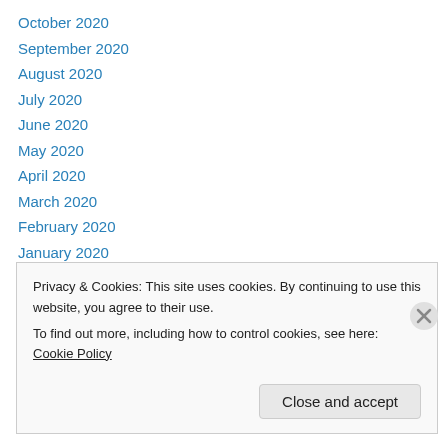October 2020
September 2020
August 2020
July 2020
June 2020
May 2020
April 2020
March 2020
February 2020
January 2020
December 2019
November 2019
October 2019
Privacy & Cookies: This site uses cookies. By continuing to use this website, you agree to their use. To find out more, including how to control cookies, see here: Cookie Policy